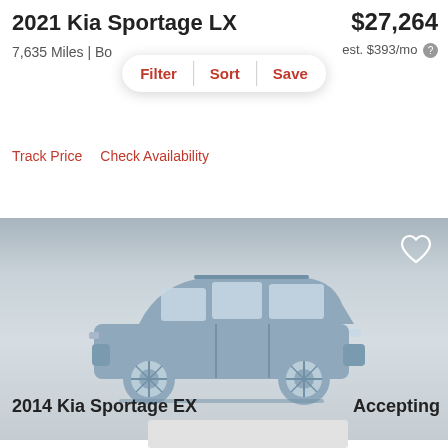2021 Kia Sportage LX
$27,264
7,635 Miles | Bo...
est. $393/mo
Filter   Sort   Save
Track Price   Check Availability
[Figure (illustration): Side-view silhouette of an SUV (light blue-gray) on a gray gradient background with a heart/favorite icon in the top right corner]
2014 Kia Sportage EX
Accepting